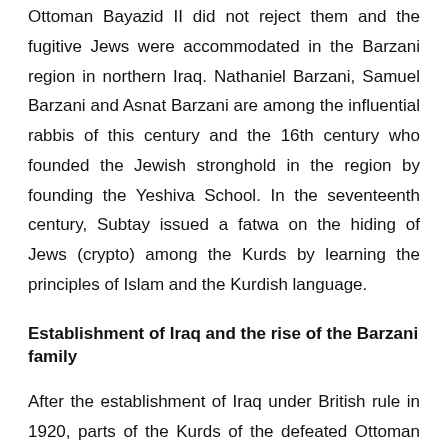Ottoman Bayazid II did not reject them and the fugitive Jews were accommodated in the Barzani region in northern Iraq. Nathaniel Barzani, Samuel Barzani and Asnat Barzani are among the influential rabbis of this century and the 16th century who founded the Jewish stronghold in the region by founding the Yeshiva School. In the seventeenth century, Subtay issued a fatwa on the hiding of Jews (crypto) among the Kurds by learning the principles of Islam and the Kurdish language.
Establishment of Iraq and the rise of the Barzani family
After the establishment of Iraq under British rule in 1920, parts of the Kurds of the defeated Ottoman Empire were inserted in the newly established country. From the very beginning,